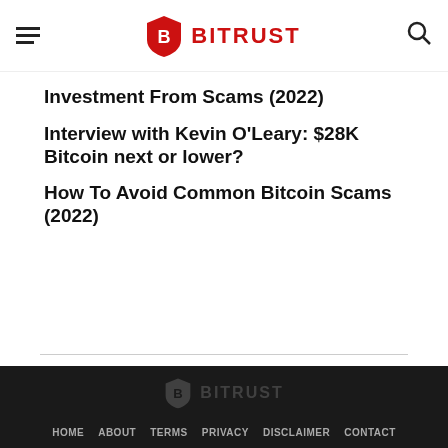BITRUST
Investment From Scams (2022)
Interview with Kevin O'Leary: $28K Bitcoin next or lower?
How To Avoid Common Bitcoin Scams  (2022)
HOME   ABOUT   TERMS   PRIVACY   DISCLAIMER   CONTACT